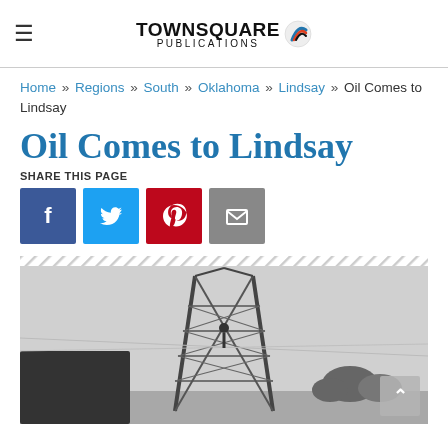TOWNSQUARE PUBLICATIONS (logo with icon)
Home » Regions » South » Oklahoma » Lindsay » Oil Comes to Lindsay
Oil Comes to Lindsay
SHARE THIS PAGE
[Figure (infographic): Social share buttons: Facebook (blue), Twitter (light blue), Pinterest (red), Email (grey)]
[Figure (photo): Black and white photograph of an oil derrick/drilling tower structure, with trees in the background and people or structures visible at the base.]